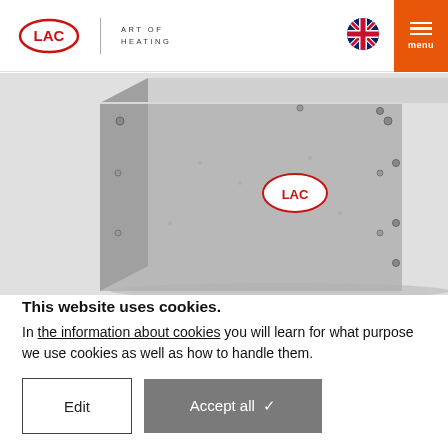[Figure (logo): LAC Art of Heating logo with red oval LAC badge, vertical divider, and 'ART OF HEATING' text in spaced caps. UK flag icon and orange menu button on right.]
[Figure (photo): A silver/aluminum industrial box or oven unit with LAC logo badge on the front, shown against a white background. The unit has metallic screws/bolts at corners and edges.]
This website uses cookies.
In the information about cookies you will learn for what purpose we use cookies as well as how to handle them.
Edit
Accept all ✓